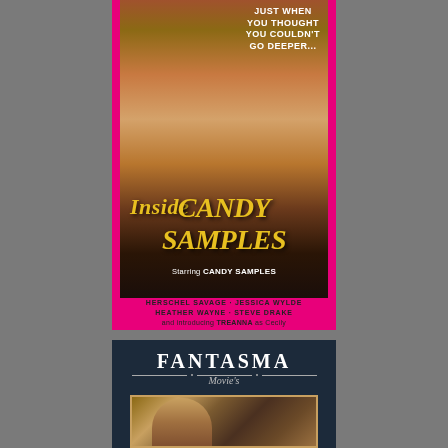[Figure (photo): VHS cover art for 'Inside Candy Samples'. Pink border with photo of blonde woman in black lingerie. Yellow italic title text 'Inside Candy Samples'. Tagline 'Just When You Thought You Couldn't Go Deeper...' in white. Cast list at bottom on pink band.]
INSIDE CANDY SAMPLES
JUST WHEN YOU THOUGHT YOU COULDN'T GO DEEPER...
Starring CANDY SAMPLES
HERSCHEL SAVAGE · JESSICA WYLDE HEATHER WAYNE · STEVE DRAKE and introducing TREANNA as Cecily
[Figure (photo): Partial VHS cover art for Fantasma Movies label. Dark navy background with 'FANTASMA Movies' header in white serif font with decorative rules. Bottom portion shows corner of a second cover image with brown/warm tones and a figure.]
FANTASMA Movies